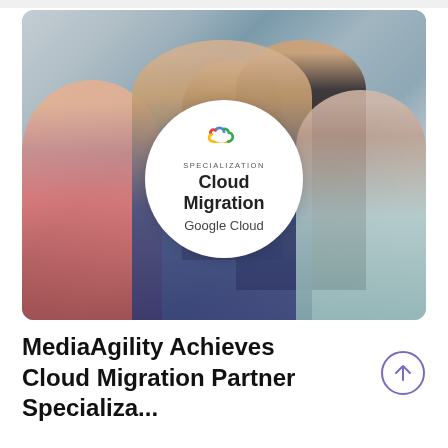[Figure (photo): Group of five diverse professionals celebrating in an office with stairs in the background. A large white circular badge is overlaid in the center showing the Google Cloud Specialization: Cloud Migration badge with the Google Cloud logo.]
MediaAgility Achieves Cloud Migration Partner Specialization